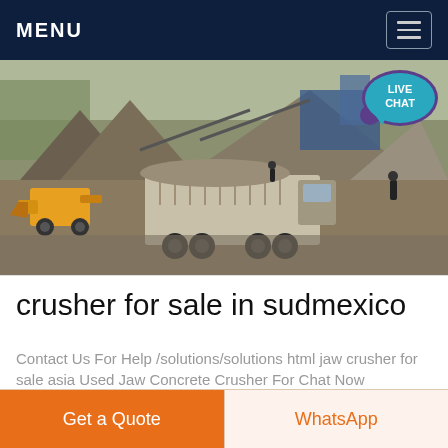MENU
[Figure (photo): Quarry/mining site with a large dump truck being loaded with crushed stone by a yellow front loader, with large piles of aggregate material and industrial crushing equipment in the background. A 'LIVE CHAT' speech bubble overlay appears in the top right corner.]
crusher for sale in sudmexico
Contact Us For Help /solutions/solutions html jaw crusher for sale asia Used Jaw Concrete Crusher For Chat Now